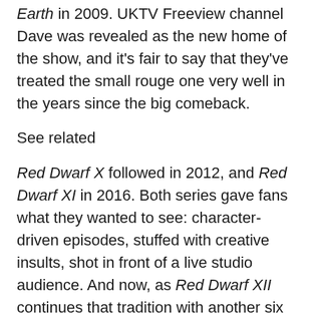Earth in 2009. UKTV Freeview channel Dave was revealed as the new home of the show, and it's fair to say that they've treated the small rouge one very well in the years since the big comeback.
See related
Red Dwarf X followed in 2012, and Red Dwarf XI in 2016. Both series gave fans what they wanted to see: character-driven episodes, stuffed with creative insults, shot in front of a live studio audience. And now, as Red Dwarf XII continues that tradition with another six instalments, we got the chance to sit down with the cast and co-creator of the show for a good long chinwag.
Craig Charles, Chris Barrie, Robert Llewellyn, Danny John-Jules and Doug Naylor were all present, as I shuffled into a swanky meeting room in the London offices of Baby Cow Productions. There were points